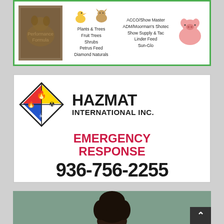[Figure (illustration): Advertisement banner with green border showing a dog, duck, cat, pig images and text listing Plants & Trees, Fruit Trees, Shrubs, Petrus Feed, Diamond Naturals, ACCO/Show Master, ADM/Moorman's Shotec, Show Supply & Tac, Linder Feed, Sun-Glo]
[Figure (logo): Hazmat International Inc. advertisement with NFPA diamond logo showing red, yellow, white, blue quadrants with hazard symbols. Text: HAZMAT INTERNATIONAL INC. EMERGENCY RESPONSE 936-756-2255]
[Figure (photo): Partial photo showing the top of a person's head with curly black hair against a grey background, partially cropped at bottom of page]